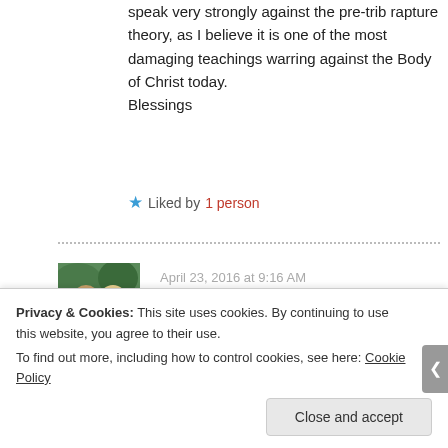speak very strongly against the pre-trib rapture theory, as I believe it is one of the most damaging teachings warring against the Body of Christ today.
Blessings
Liked by 1 person
April 23, 2016 at 9:16 AM
[Figure (photo): Profile photo of a couple, man in blue plaid shirt and woman with blonde hair, outdoors with green foliage in background]
Interesting. I'll check it, hopefully this
Privacy & Cookies: This site uses cookies. By continuing to use this website, you agree to their use.
To find out more, including how to control cookies, see here: Cookie Policy
Close and accept